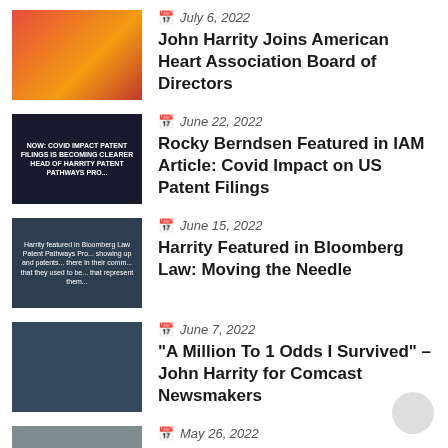July 6, 2022 — John Harrity Joins American Heart Association Board of Directors
June 22, 2022 — Rocky Berndsen Featured in IAM Article: Covid Impact on US Patent Filings
June 15, 2022 — Harrity Featured in Bloomberg Law: Moving the Needle
June 7, 2022 — "A Million To 1 Odds I Survived" – John Harrity for Comcast Newsmakers
May 26, 2022 — Onyx IP Group, Launched from Harrity's Minority Firm Incubator, Creates Diversity Scholarship